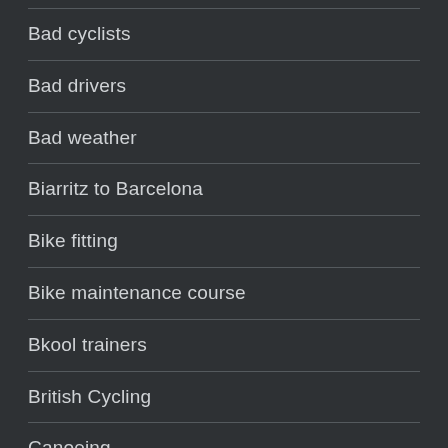Bad cyclists
Bad drivers
Bad weather
Biarritz to Barcelona
Bike fitting
Bike maintenance course
Bkool trainers
British Cycling
Canoeing
Chain gang
Cissbury Ring